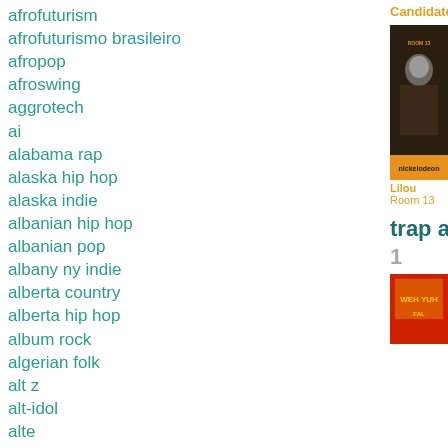afrofuturism
afrofuturismo brasileiro
afropop
afroswing
aggrotech
ai
alabama rap
alaska hip hop
alaska indie
albanian hip hop
albanian pop
albany ny indie
alberta country
alberta hip hop
album rock
algerian folk
alt z
alt-idol
alte
alternative country
alternative dance
alternative emo
alternative hardcore
alternative hip hop
alternative metal
Candidato Do Amor
[Figure (photo): Album cover for Room 13 by Lilou, showing a skull in a jungle setting with Nickelodeon branding]
Lilou
Room 13
trap antilla
1
[Figure (photo): Album cover with red and yellow background showing stylized text WEH YUH and logo]